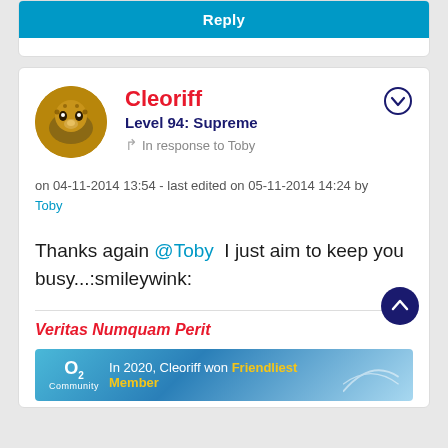Reply
Cleoriff
Level 94: Supreme
In response to Toby
on 04-11-2014 13:54 - last edited on 05-11-2014 14:24 by Toby
Thanks again @Toby  I just aim to keep you busy...:smileywink:
Veritas Numquam Perit
[Figure (infographic): O2 Community banner stating 'In 2020, Cleoriff won Friendliest Member' with a golden text highlight on a blue gradient background]